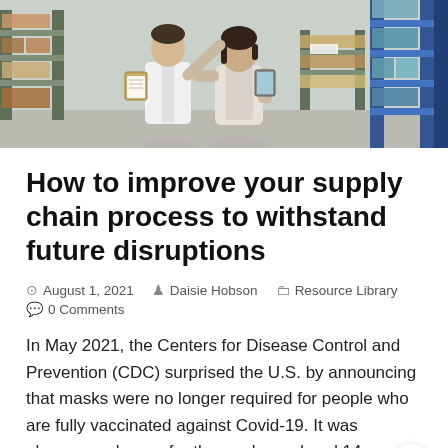[Figure (photo): Two people in a warehouse — a man in a white shirt holding a clipboard and a woman holding a tablet, standing among shelving units with boxes and packages.]
How to improve your supply chain process to withstand future disruptions
August 1, 2021   Daisie Hobson   Resource Library   0 Comments
In May 2021, the Centers for Disease Control and Prevention (CDC) surprised the U.S. by announcing that masks were no longer required for people who are fully vaccinated against Covid-19. It was phenomenal news for those who endured 14 months...